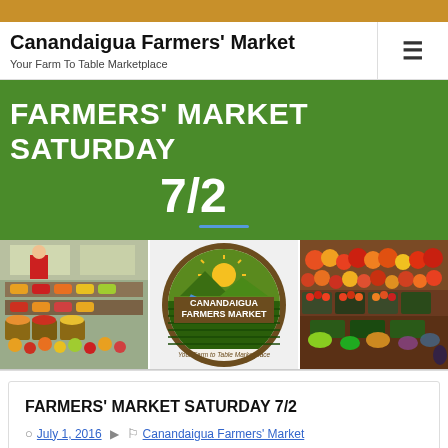Canandaigua Farmers' Market — Your Farm To Table Marketplace
FARMERS' MARKET SATURDAY 7/2
[Figure (photo): Three-panel image strip: left panel shows a vendor in red coat arranging produce at a market stall with colorful fruits; center panel shows the Canandaigua Farmers Market circular logo with sun, river and fields, tagline 'Your Farm to Table Marketplace'; right panel shows colorful fresh tomatoes and produce in baskets at a market stand.]
FARMERS' MARKET SATURDAY 7/2
July 1, 2016   Canandaigua Farmers' Market